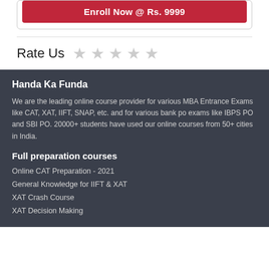Enroll Now @ Rs. 9999
Rate Us
Handa Ka Funda
We are the leading online course provider for various MBA Entrance Exams like CAT, XAT, IIFT, SNAP, etc. and for various bank po exams like IBPS PO and SBI PO. 20000+ students have used our online courses from 50+ cities in India.
Full preparation courses
Online CAT Preparation - 2021
General Knowledge for IIFT & XAT
XAT Crash Course
XAT Decision Making